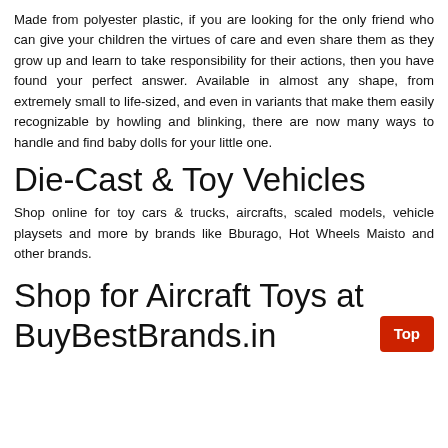Made from polyester plastic, if you are looking for the only friend who can give your children the virtues of care and even share them as they grow up and learn to take responsibility for their actions, then you have found your perfect answer. Available in almost any shape, from extremely small to life-sized, and even in variants that make them easily recognizable by howling and blinking, there are now many ways to handle and find baby dolls for your little one.
Die-Cast & Toy Vehicles
Shop online for toy cars & trucks, aircrafts, scaled models, vehicle playsets and more by brands like Bburago, Hot Wheels Maisto and other brands.
Shop for Aircraft Toys at BuyBestBrands.in